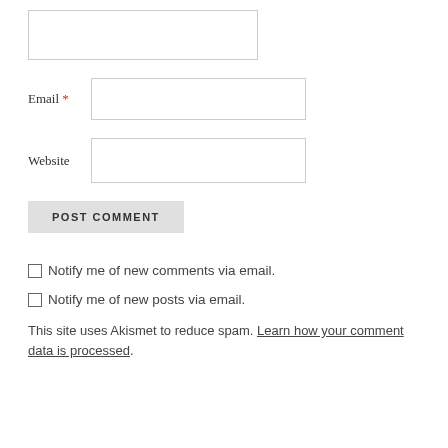[Figure (other): Text input field (no label, top of form)]
Email *
[Figure (other): Email input field]
Website
[Figure (other): Website input field]
[Figure (other): POST COMMENT button]
Notify me of new comments via email.
Notify me of new posts via email.
This site uses Akismet to reduce spam. Learn how your comment data is processed.